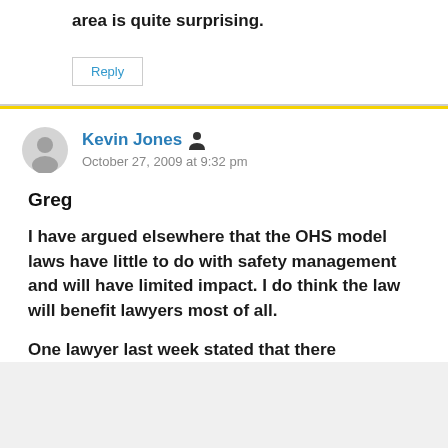area is quite surprising.
Reply
Kevin Jones
October 27, 2009 at 9:32 pm
Greg
I have argued elsewhere that the OHS model laws have little to do with safety management and will have limited impact. I do think the law will benefit lawyers most of all.
One lawyer last week stated that there